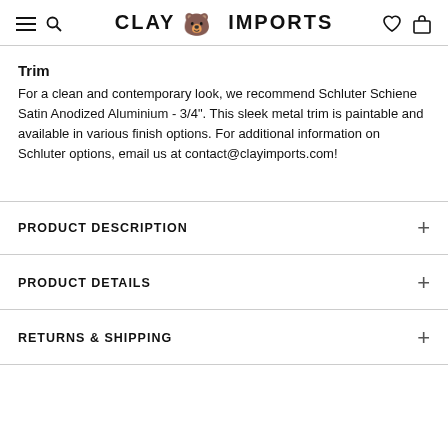CLAY IMPORTS
Trim
For a clean and contemporary look, we recommend Schluter Schiene Satin Anodized Aluminium - 3/4". This sleek metal trim is paintable and available in various finish options. For additional information on Schluter options, email us at contact@clayimports.com!
PRODUCT DESCRIPTION
PRODUCT DETAILS
RETURNS & SHIPPING